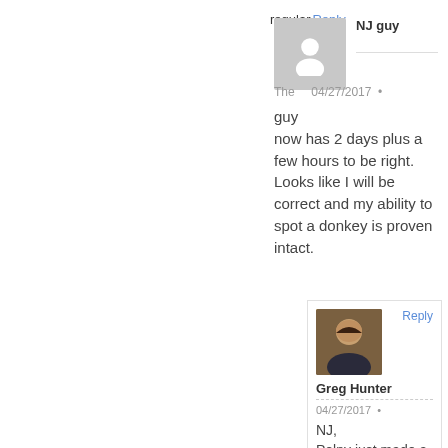[Figure (other): Gray placeholder avatar with white person silhouette for user 'regular NJ guy']
regular NJ guy
Reply
The guy now has 2 days plus a few hours to be right. Looks like I will be correct and my ability to spot a donkey is proven intact.
04/27/2017 •
[Figure (photo): Profile photo of Greg Hunter, a dark-haired man in a suit]
Greg Hunter
Reply
04/27/2017 •
NJ,
Polny just made a